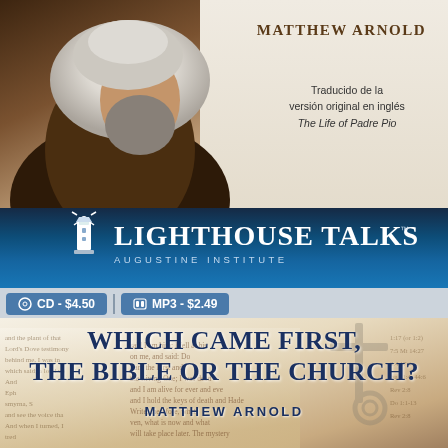[Figure (photo): Top portion of a book cover showing Padre Pio in brown/white religious habit, right side has cream background]
MATTHEW ARNOLD
Traducido de la versión original en inglés The Life of Padre Pio
[Figure (logo): Lighthouse Talks - Augustine Institute logo on dark blue banner with lighthouse icon]
CD - $4.50
MP3 - $2.49
[Figure (photo): Open Bible with rosary/keys overlaid, used as background for lower book cover section]
WHICH CAME FIRST, THE BIBLE OR THE CHURCH?
MATTHEW ARNOLD